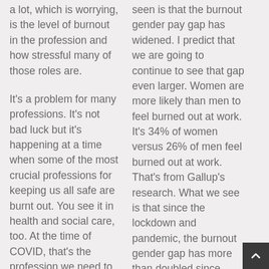a lot, which is worrying, is the level of burnout in the profession and how stressful many of those roles are.
It's a problem for many professions. It's not bad luck but it's happening at a time when some of the most crucial professions for keeping us all safe are burnt out. You see it in health and social care, too. At the time of COVID, that's the profession we need to be looking after. We can't afford for them to be burnt out and cybersecurity is true as well.
seen is that the burnout gender pay gap has widened. I predict that we are going to continue to see that gap even larger. Women are more likely than men to feel burned out at work. It's 34% of women versus 26% of men feel burned out at work. That's from Gallup's research. What we see is that since the lockdown and pandemic, the burnout gender gap has more than doubled since 2019.
That's scary because that's not right. We can all see that there are lots of